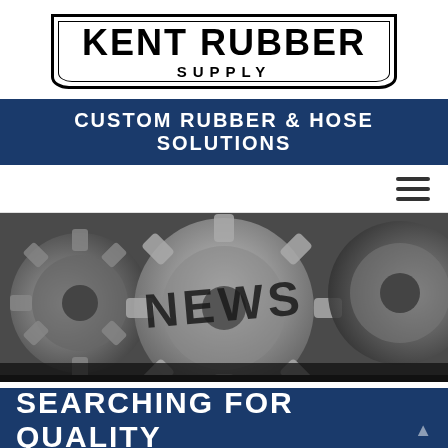[Figure (logo): Kent Rubber Supply logo — bold black text in a rounded-bottom rectangular border with double-rule detail]
CUSTOM RUBBER & HOSE SOLUTIONS
[Figure (illustration): Hamburger menu icon (three horizontal bars)]
[Figure (photo): Close-up photograph of interlocking metal gears with the word NEWS embossed on one gear]
SEARCHING FOR QUALITY